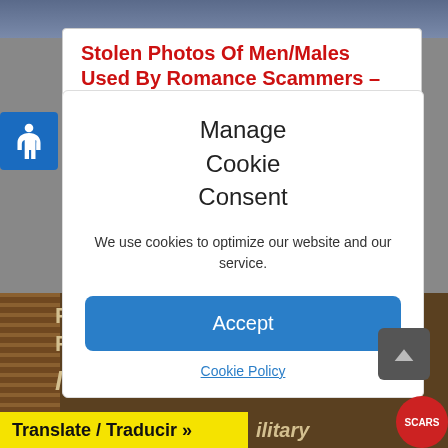Stolen Photos Of Men/Males Used By Romance Scammers – December 2021
Categories: 2021, Impersonation Scammer Photos, Men,
Manage Cookie Consent
We use cookies to optimize our website and our service.
Accept
Cookie Policy
[Figure (photo): Bottom banner showing Fake Soldiers · Stolen Photos Photo Album text with rope on left side, scroll up button, Translate/Traducir bar, military italic text, and SCARS red badge]